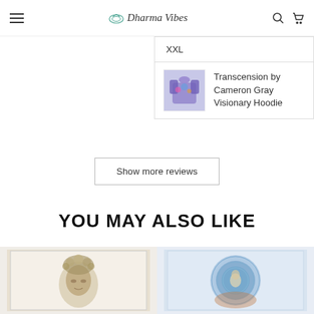Dharma Vibes
XXL
Transcension by Cameron Gray Visionary Hoodie
Show more reviews
YOU MAY ALSO LIKE
[Figure (photo): Product thumbnail - Buddha face with floral headdress tapestry, sepia toned]
[Figure (photo): Product thumbnail - Blue/teal mandala meditation art tapestry]